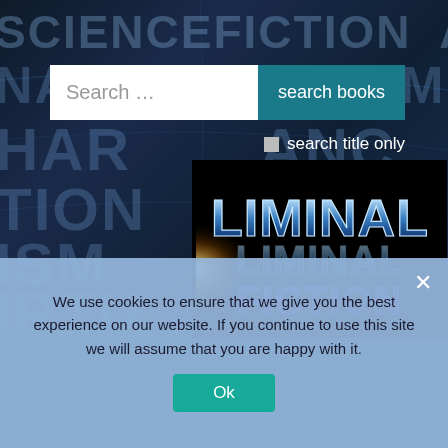[Figure (screenshot): Website screenshot of Liminal Fiction book search page with sci-fi themed dark blue background showing large translucent letters (SCIENCEFICTION, NALFICTION, HAR, TIONONIE, ISM, IRTU) in the background]
Search ...
search books
search title only
[Figure (logo): Liminal Fiction logo — chrome 3D block letters spelling LIMINAL on top (blue metallic with white highlights) and FICTION below in dark purple/blue, on a black background with a bright light burst on the left side]
We use cookies to ensure that we give you the best experience on our website. If you continue to use this site we will assume that you are happy with it.
Ok